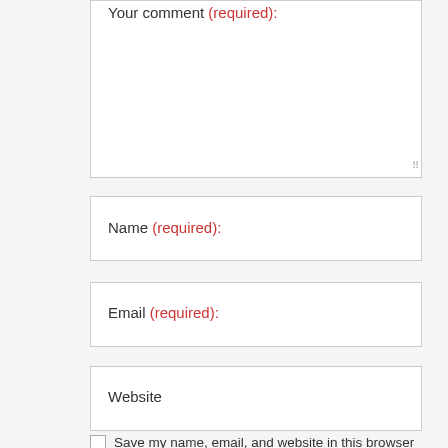Your comment (required):
Name (required):
Email (required):
Website
Save my name, email, and website in this browser for the next time I comment.